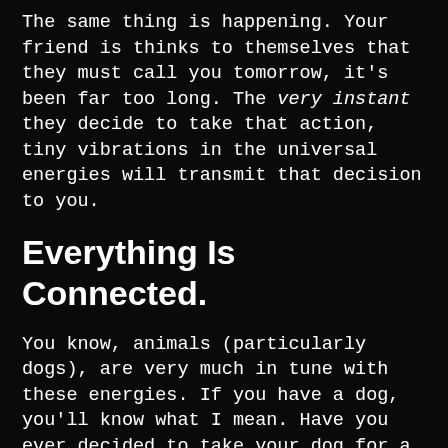The same thing is happening. Your friend is thinks to themselves that they must call you tomorrow, it's been far too long. The very instant they decide to take that action, tiny vibrations in the universal energies will transmit that decision to you.
Everything Is Connected.
You know, animals (particularly dogs), are very much in tune with these energies. If you have a dog, you'll know what I mean. Have you ever decided to take your dog for a walk, and then you find them sitting by the door, ready to go? Or you come home and sneak up to the house hoping to surprise your dog, but the dog is waiting by the door for you anyway – like they knew you were coming?